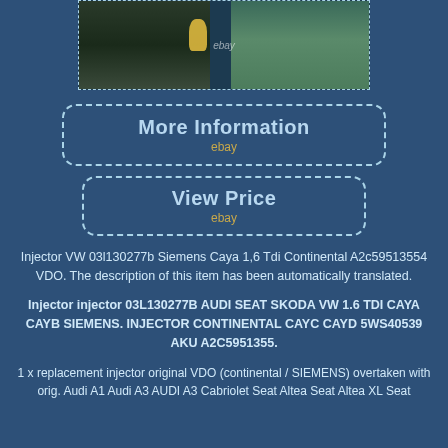[Figure (photo): Photo of fuel injector testing equipment on a workbench with ebay watermark]
[Figure (other): eBay button: More Information with dashed rounded border]
[Figure (other): eBay button: View Price with dashed rounded border]
Injector VW 03l130277b Siemens Caya 1,6 Tdi Continental A2c59513554 VDO. The description of this item has been automatically translated.
Injector injector 03L130277B AUDI SEAT SKODA VW 1.6 TDI CAYA CAYB SIEMENS. INJECTOR CONTINENTAL CAYC CAYD 5WS40539 AKU A2C5951355.
1 x replacement injector original VDO (continental / SIEMENS) overtaken with orig. Audi A1 Audi A3 AUDI A3 Cabriolet Seat Altea Seat Altea XL Seat